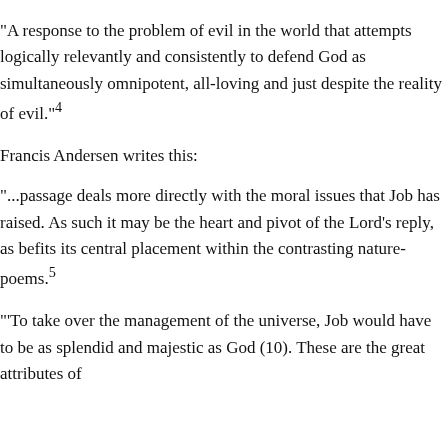“A response to the problem of evil in the world that attempts logically relevantly and consistently to defend God as simultaneously omnipotent, all-loving and just despite the reality of evil.”⁴
Francis Andersen writes this:
“...passage deals more directly with the moral issues that Job has raised. As such it may be the heart and pivot of the Lord’s reply, as befits its central placement within the contrasting nature-poems.⁵
“To take over the management of the universe, Job would have to be as splendid and majestic as God (10). These are the great attributes of